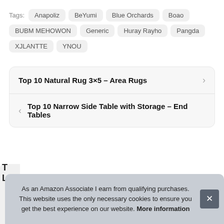Tags: Anapoliz  BeYumi  Blue Orchards  Boao  BUBM MEHOWON  Generic  Huray Rayho  Pangda  XJLANTTE  YNOU
Top 10 Natural Rug 3×5 – Area Rugs
Top 10 Narrow Side Table with Storage – End Tables
As an Amazon Associate I earn from qualifying purchases. This website uses the only necessary cookies to ensure you get the best experience on our website. More information